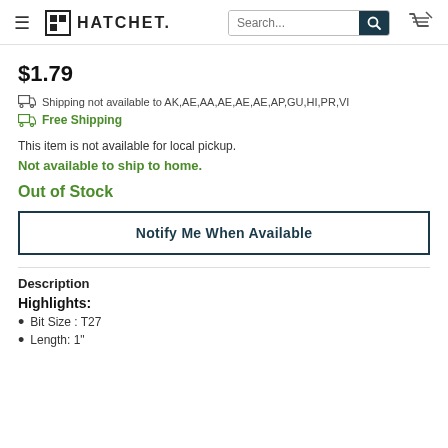HATCHET — Search bar and cart icon
$1.79
Shipping not available to AK,AE,AA,AE,AE,AE,AP,GU,HI,PR,VI
Free Shipping
This item is not available for local pickup.
Not available to ship to home.
Out of Stock
Notify Me When Available
Description
Highlights:
Bit Size : T27
Length: 1"